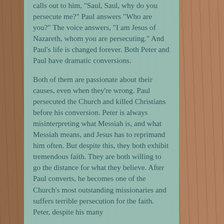calls out to him, "Saul, Saul, why do you persecute me?" Paul answers "Who are you?" The voice answers, "I am Jesus of Nazareth, whom you are persecuting." And Paul's life is changed forever. Both Peter and Paul have dramatic conversions.
Both of them are passionate about their causes, even when they're wrong. Paul persecuted the Church and killed Christians before his conversion. Peter is always misinterpreting what Messiah is, and what Messiah means, and Jesus has to reprimand him often. But despite this, they both exhibit tremendous faith. They are both willing to go the distance for what they believe. After Paul converts, he becomes one of the Church's most outstanding missionaries and suffers terrible persecution for the faith. Peter, despite his many